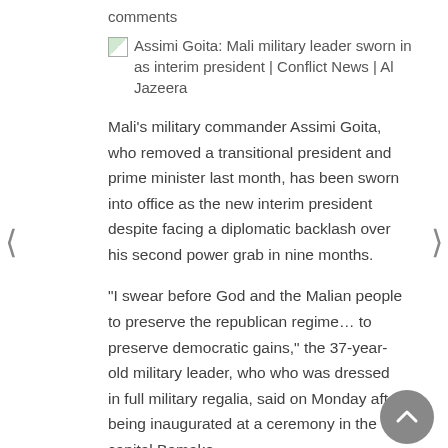comments
[Figure (screenshot): Broken image placeholder followed by link text: Assimi Goita: Mali military leader sworn in as interim president | Conflict News | Al Jazeera]
Mali’s military commander Assimi Goita, who removed a transitional president and prime minister last month, has been sworn into office as the new interim president despite facing a diplomatic backlash over his second power grab in nine months.
“I swear before God and the Malian people to preserve the republican regime… to preserve democratic gains,” the 37-year-old military leader, who who was dressed in full military regalia, said on Monday after being inaugurated at a ceremony in the capital Bamako.